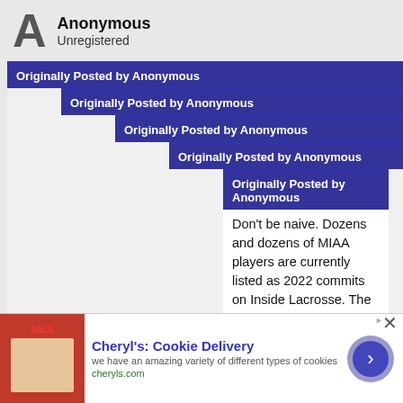Anonymous
Unregistered
Originally Posted by Anonymous
Originally Posted by Anonymous
Originally Posted by Anonymous
Originally Posted by Anonymous
Originally Posted by Anonymous
Don't be naive. Dozens and dozens of MIAA players are currently listed as 2022 commits on Inside Lacrosse. The current top player of the year candidate, Logan Wisnauskas, is a 6th year UNDERGRAD. He's going to be 26 this year. Maryland has something like 22 grad and senior players on the 45 man roster
[Figure (infographic): Advertisement banner for Cheryl's Cookie Delivery showing cookies image, title, description text, URL, and a circular arrow button]